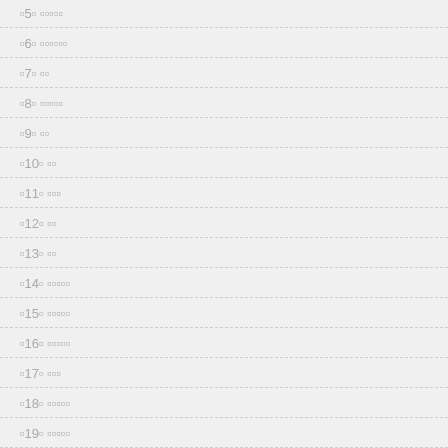▫5▫ ▫▫▫▫▫
▫6▫ ▫▫▫▫▫▫
▫7▫ ▫▫
▫8▫ ▫▫▫▫▫
▫9▫ ▫▫
▫10▫ ▫▫
▫11▫ ▫▫▫
▫12▫ ▫▫
▫13▫ ▫▫
▫14▫ ▫▫▫▫▫
▫15▫ ▫▫▫▫▫
▫16▫ ▫▫▫▫▫
▫17▫ ▫▫▫
▫18▫ ▫▫▫▫▫
▫19▫ ▫▫▫▫▫